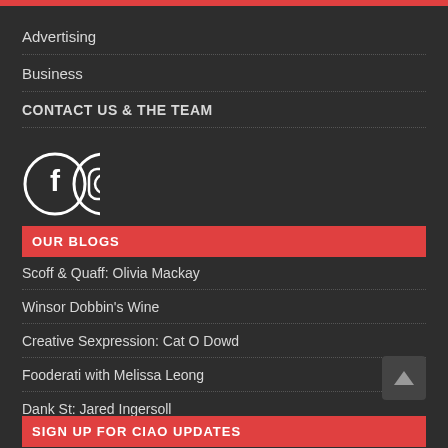Advertising
Business
CONTACT US & THE TEAM
[Figure (illustration): Facebook and Instagram social media icons, circular white outlines on dark background]
OUR BLOGS
Scoff & Quaff: Olivia Mackay
Winsor Dobbin's Wine
Creative Sexpression: Cat O Dowd
Fooderati with Melissa Leong
Dank St: Jared Ingersoll
SIGN UP FOR CIAO UPDATES